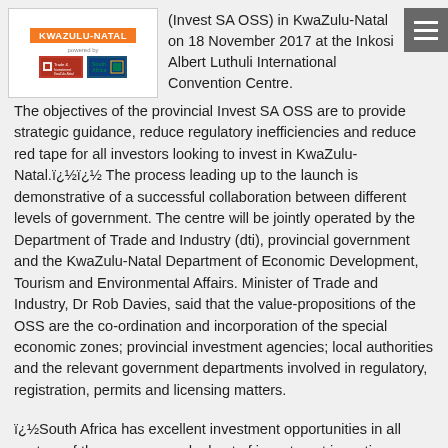[Figure (logo): KwaZulu-Natal logo box with orange KwaZulu-Natal banner, 'powered by' text, Trade & Investment KwaZulu-Natal logo and South Africa logo]
(Invest SA OSS) in KwaZulu-Natal on 18 November 2017 at the Inkosi Albert Luthuli International Convention Centre. The objectives of the provincial Invest SA OSS are to provide strategic guidance, reduce regulatory inefficiencies and reduce red tape for all investors looking to invest in KwaZulu-Natal.ï¿½ï¿½ The process leading up to the launch is demonstrative of a successful collaboration between different levels of government. The centre will be jointly operated by the Department of Trade and Industry (dti), provincial government and the KwaZulu-Natal Department of Economic Development, Tourism and Environmental Affairs. Minister of Trade and Industry, Dr Rob Davies, said that the value-propositions of the OSS are the co-ordination and incorporation of the special economic zones; provincial investment agencies; local authorities and the relevant government departments involved in regulatory, registration, permits and licensing matters.
ï¿½South Africa has excellent investment opportunities in all sectors of the economy and a host of investment incentives